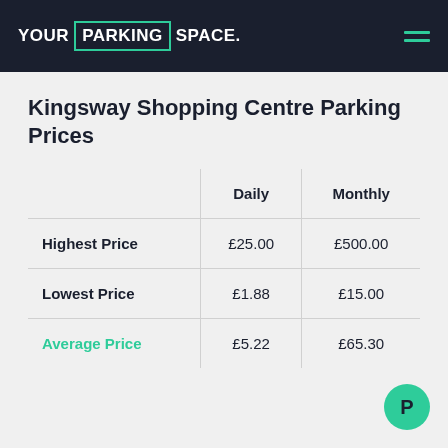YOUR PARKING SPACE.
Kingsway Shopping Centre Parking Prices
|  | Daily | Monthly |
| --- | --- | --- |
| Highest Price | £25.00 | £500.00 |
| Lowest Price | £1.88 | £15.00 |
| Average Price | £5.22 | £65.30 |